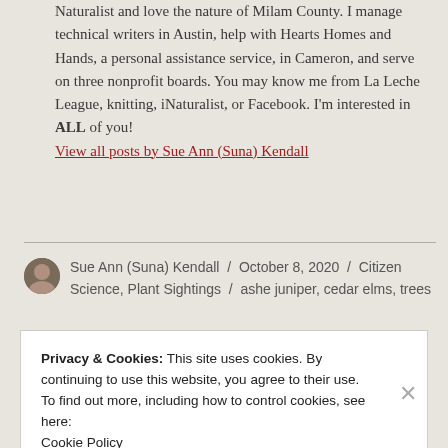Naturalist and love the nature of Milam County. I manage technical writers in Austin, help with Hearts Homes and Hands, a personal assistance service, in Cameron, and serve on three nonprofit boards. You may know me from La Leche League, knitting, iNaturalist, or Facebook. I'm interested in ALL of you!
View all posts by Sue Ann (Suna) Kendall
Sue Ann (Suna) Kendall / October 8, 2020 / Citizen Science, Plant Sightings / ashe juniper, cedar elms, trees
Privacy & Cookies: This site uses cookies. By continuing to use this website, you agree to their use.
To find out more, including how to control cookies, see here:
Cookie Policy
Close and accept